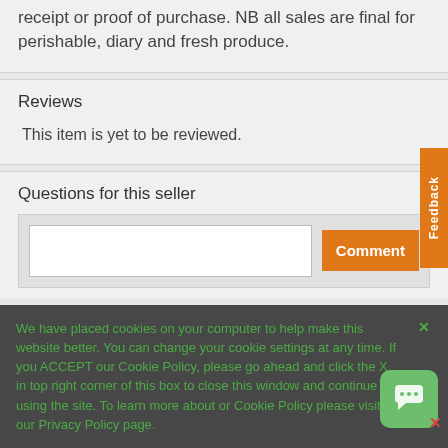receipt or proof of purchase. NB all sales are final for perishable, diary and fresh produce.
Reviews
This item is yet to be reviewed.
Questions for this seller
We have placed cookies on your computer to help make this website better. You can change your cookie settings at any time. If you ACCEPT our Cookie Policy, please go ahead and click the X in top right corner of this box to close this window and continue using the site. To learn more about or Cookie Policy please visit our Privacy Policy page.